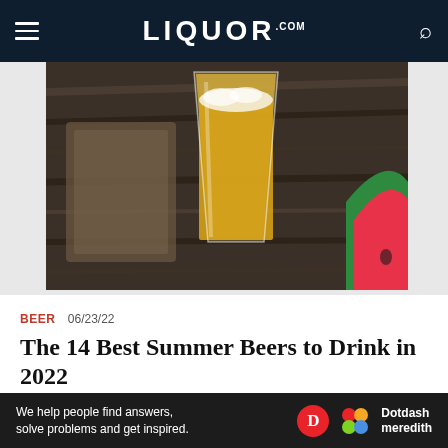LIQUOR.COM
[Figure (photo): A glass of golden/amber beer on a wooden surface with a watermelon slice in the background]
BEER  06/23/22
The 14 Best Summer Beers to Drink in 2022
[Figure (photo): Partial view of a dark red/maroon background with what appears to be a cork or bottle cap at bottom center]
We help people find answers, solve problems and get inspired.
Dotdash meredith